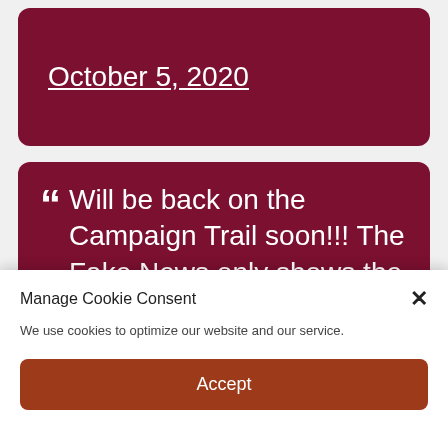October 5, 2020
Will be back on the Campaign Trail soon!!! The Fake News only shows the Fake Polls.
– Donald J. Trump (@realDonaldTrump) October 5,
Manage Cookie Consent
We use cookies to optimize our website and our service.
Accept